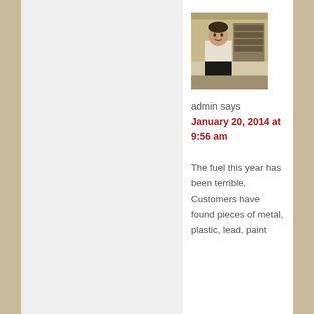[Figure (photo): Avatar/profile photo of admin user, a man standing indoors]
admin says
January 20, 2014 at 9:56 am
The fuel this year has been terrible. Customers have found pieces of metal, plastic, lead, paint